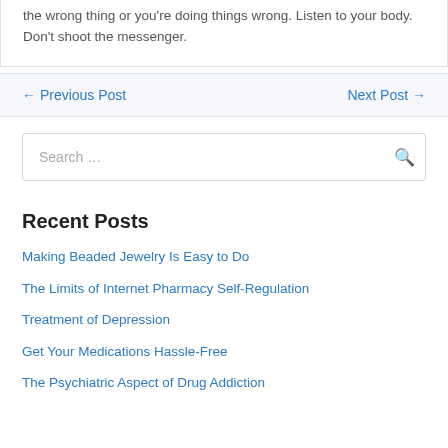the wrong thing or you're doing things wrong. Listen to your body. Don't shoot the messenger.
← Previous Post   Next Post →
Search …
Recent Posts
Making Beaded Jewelry Is Easy to Do
The Limits of Internet Pharmacy Self-Regulation
Treatment of Depression
Get Your Medications Hassle-Free
The Psychiatric Aspect of Drug Addiction